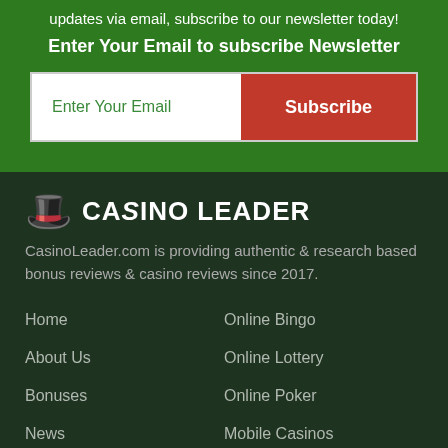updates via email, subscribe to our newsletter today!
Enter Your Email to subscribe Newsletter
Enter Your Email
Subscribe
[Figure (logo): Casino Leader logo with top hat icon]
CasinoLeader.com is providing authentic & research based bonus reviews & casino reviews since 2017.
Home
Online Bingo
About Us
Online Lottery
Bonuses
Online Poker
News
Mobile Casinos